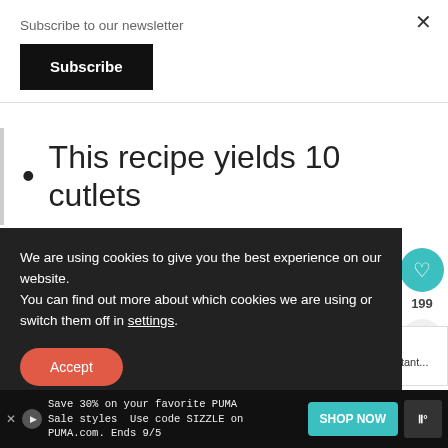Subscribe to our newsletter
Subscribe
This recipe yields 10 cutlets
We are using cookies to give you the best experience on our website.
You can find out more about which cookies we are using or switch them off in settings.
Accept
ade
n ar
WHAT'S NEXT → Breakfast is an Important...
days.
Save 30% on your favorite PUMA Sale styles  Use code SIZZLE on PUMA.com. Ends 9/5
SHOP NOW